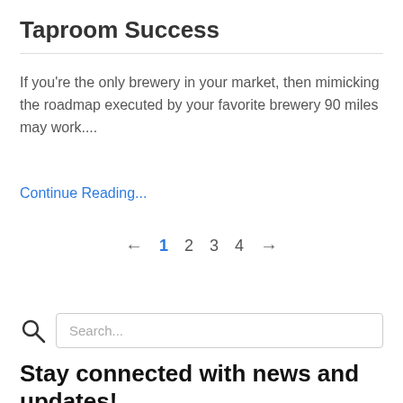Taproom Success
If you're the only brewery in your market, then mimicking the roadmap executed by your favorite brewery 90 miles may work....
Continue Reading...
← 1 2 3 4 →
[Figure (other): Search bar with search icon and placeholder text 'Search...']
Stay connected with news and updates!